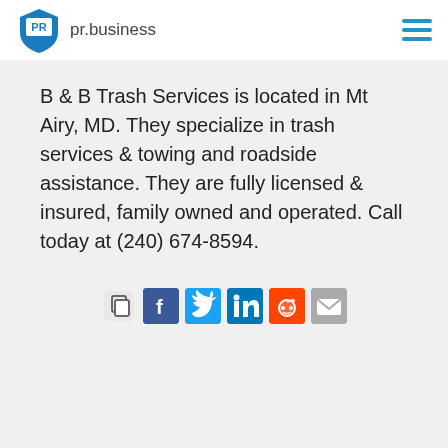pr.business
B & B Trash Services is located in Mt Airy, MD. They specialize in trash services & towing and roadside assistance. They are fully licensed & insured, family owned and operated. Call today at (240) 674-8594.
[Figure (infographic): Row of social sharing icons: copy link, Facebook, Twitter, LinkedIn, Reddit, Email]